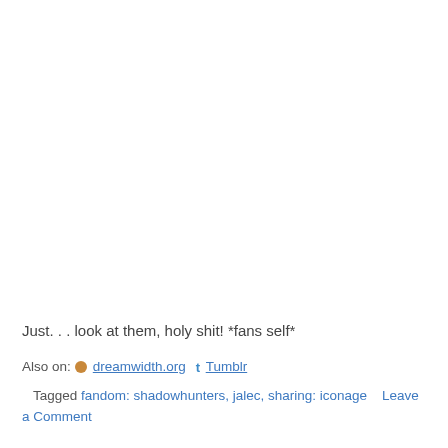Just. . . look at them, holy shit! *fans self*
Also on: dreamwidth.org  t Tumblr
Tagged fandom: shadowhunters, jalec, sharing: iconage    Leave a Comment